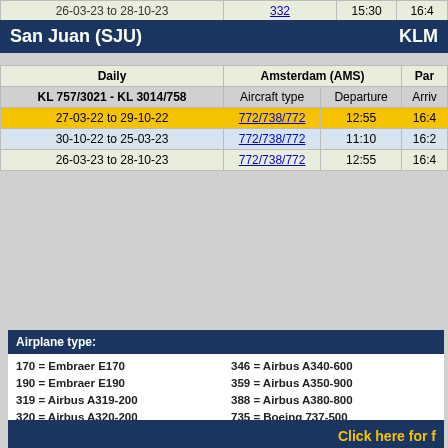|  | 332 | 15:30 | 16:4 |
| --- | --- | --- | --- |
| 26-03-23 to 28-10-23 | 332 | 15:30 | 16:4 |
San Juan (SJU)    KLM
| Daily | Amsterdam (AMS) | Par |
| --- | --- | --- |
| KL 757/3021 - KL 3014/758 | Aircraft type | Departure | Arriv |
| 27-03-22 to 29-10-22 | 772/738/772 | 12:55 | 16:4 |
| 30-10-22 to 25-03-23 | 772/738/772 | 11:10 | 16:2 |
| 26-03-23 to 28-10-23 | 772/738/772 | 12:55 | 16:4 |
Airplane type:
170 = Embraer E170
190 = Embraer E190
319 = Airbus A319-200
320 = Airbus A320-200
321 = Airbus A321-200
332 = Airbus A330-200
333 = Airbus A330-300,
339 = Airbus A330-900
343 = Airbus A340-300
346 = Airbus A340-600
359 = Airbus A350-900
388 = Airbus A380-800
735 = Boeing 737-500
737 = Boeing 737-700
738 = Boeing 737-800
739 = Boeing 737-900
744 = Boeing 747-400
748 = Boeing 747-800
Tip: By double-clicking some
Click here for f